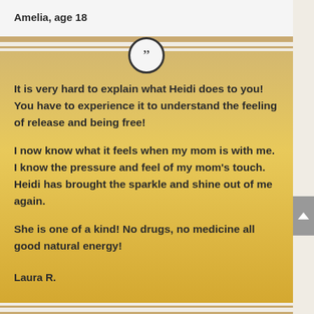Amelia, age 18
It is very hard to explain what Heidi does to you! You have to experience it to understand the feeling of release and being free!

I now know what it feels when my mom is with me. I know the pressure and feel of my mom's touch. Heidi has brought the sparkle and shine out of me again.

She is one of a kind! No drugs, no medicine all good natural energy!
Laura R.
My children benefited greatly from Heidi's